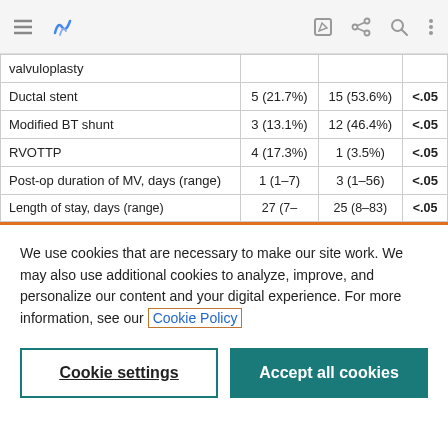|  |  |  |  |
| --- | --- | --- | --- |
| valvuloplasty |  |  |  |
| Ductal stent | 5 (21.7%) | 15 (53.6%) | <.05 |
| Modified BT shunt | 3 (13.1%) | 12 (46.4%) | <.05 |
| RVOTTP | 4 (17.3%) | 1 (3.5%) | <.05 |
| Post-op duration of MV, days (range) | 1 (1–7) | 3 (1–56) | <.05 |
| Length of stay, days (range) | 27 (7– | 25 (8–83) | <.05 |
We use cookies that are necessary to make our site work. We may also use additional cookies to analyze, improve, and personalize our content and your digital experience. For more information, see our Cookie Policy
Cookie settings
Accept all cookies